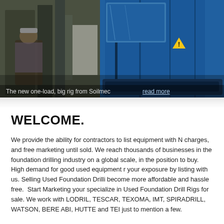[Figure (photo): Photo of industrial drilling machinery/equipment in a workshop or facility. Left side shows a worker in plaid shirt near dark metallic machinery components. Right side shows a bright blue large drilling rig with warning labels visible. A gray panel is visible in the center.]
The new one-load, big rig from Soilmec read more
WELCOME.
We provide the ability for contractors to list equipment with No charges, and free marketing until sold. We reach thousands of businesses in the foundation drilling industry on a global scale, in the position to buy. High demand for good used equipment r your exposure by listing with us. Selling Used Foundation Drilli become more affordable and hassle free.  Start Marketing your specialize in Used Foundation Drill Rigs for sale. We work with LODRIL, TESCAR, TEXOMA, IMT, SPIRADRILL, WATSON, BERE ABI, HUTTE and TEI just to mention a few.